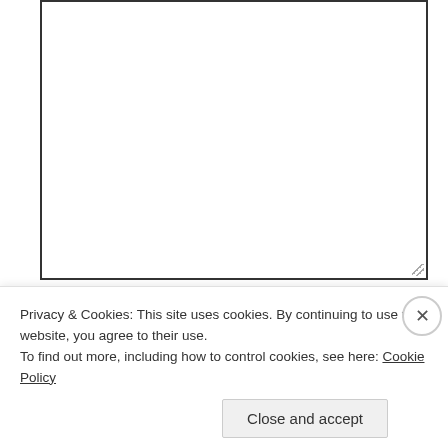[Figure (screenshot): Empty textarea input box with resize handle in bottom-right corner]
Name *
[Figure (screenshot): Text input field with placeholder text 'ex: jane doe']
Email *
Privacy & Cookies: This site uses cookies. By continuing to use this website, you agree to their use.
To find out more, including how to control cookies, see here: Cookie Policy
Close and accept